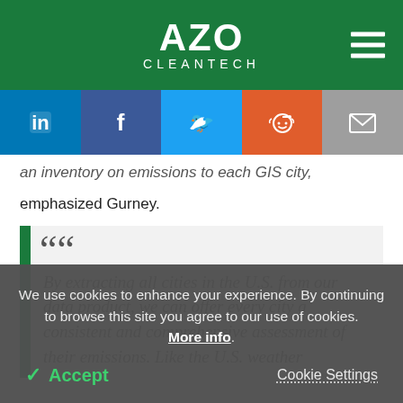AZO CLEANTECH
an inventory on emissions to each GIS city, emphasized Gurney.
By extracting all cities in the U.S. from our data product, we can offer every city a consistent and comprehensive assessment of their emissions. Like the U.S. weather...
We use cookies to enhance your experience. By continuing to browse this site you agree to our use of cookies. More info. Accept  Cookie Settings